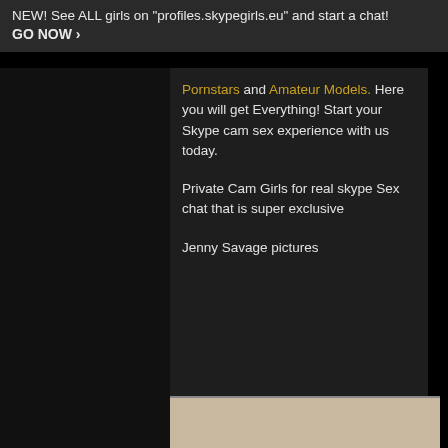NEW! See ALL girls on "profiles.skypegirls.eu" and start a chat! GO NOW ›
Pornstars and Amateur Models. Here you will get Everything! Start your Skype cam sex experience with us today.
Private Cam Girls for real skype Sex chat that is super exclusive
Jenny Savage pictures
[Figure (photo): Bottom portion of a person with curly hair visible at the bottom of the page]